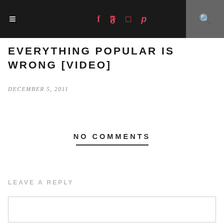Navigation bar with hamburger menu, social icons (Facebook, Twitter, Instagram, Pinterest), and search button
EVERYTHING POPULAR IS WRONG [VIDEO]
DECEMBER 5, 2011
NO COMMENTS
LEAVE A REPLY